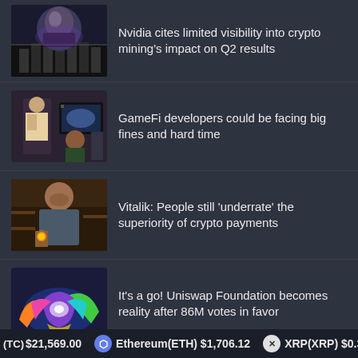Nvidia cites limited visibility into crypto mining's impact on Q2 results
GameFi developers could be facing big fines and hard time
Vitalik: People still 'underrate' the superiority of crypto payments
It's a go! Uniswap Foundation becomes reality after 86M votes in favor
9,404 Crypto Mining Devices Seized by
(TC) $21,569.00   Ethereum(ETH) $1,706.12   XRP(XRP) $0.347